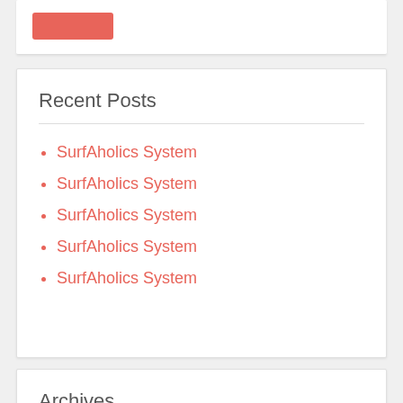[Figure (other): Red button/banner element at top of card]
Recent Posts
SurfAholics System
SurfAholics System
SurfAholics System
SurfAholics System
SurfAholics System
Archives
June 2020
May 2020
April 2020
March 2020